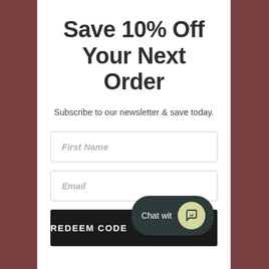Save 10% Off Your Next Order
Subscribe to our newsletter & save today.
First Name
Email
REDEEM CODE
Chat with